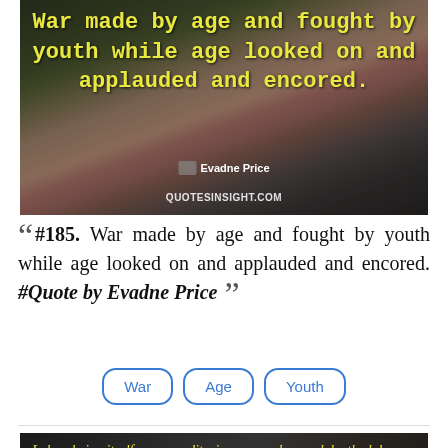[Figure (illustration): Quote image with dark background and rose, yellow text reading 'War made by age and fought by youth while age looked on and applauded and encored.' attributed to Evadne Price, with QUOTESINSIGHT.COM watermark]
" #185. War made by age and fought by youth while age looked on and applauded and encored. #Quote by Evadne Price "
War
Age
Youth
[Figure (illustration): Dark background quote image with yellow italic text: 'Labor, being itself a commodity, is measured as such by the labor time needed to produce the labor-commodity. And what is needed to produce this labor-commodity?']